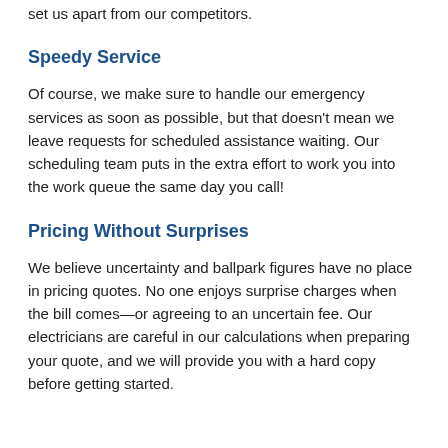set us apart from our competitors.
Speedy Service
Of course, we make sure to handle our emergency services as soon as possible, but that doesn't mean we leave requests for scheduled assistance waiting. Our scheduling team puts in the extra effort to work you into the work queue the same day you call!
Pricing Without Surprises
We believe uncertainty and ballpark figures have no place in pricing quotes. No one enjoys surprise charges when the bill comes—or agreeing to an uncertain fee. Our electricians are careful in our calculations when preparing your quote, and we will provide you with a hard copy before getting started.